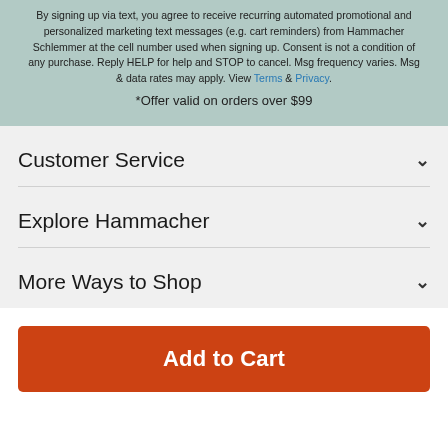By signing up via text, you agree to receive recurring automated promotional and personalized marketing text messages (e.g. cart reminders) from Hammacher Schlemmer at the cell number used when signing up. Consent is not a condition of any purchase. Reply HELP for help and STOP to cancel. Msg frequency varies. Msg & data rates may apply. View Terms & Privacy.
*Offer valid on orders over $99
Customer Service
Explore Hammacher
More Ways to Shop
Add to Cart